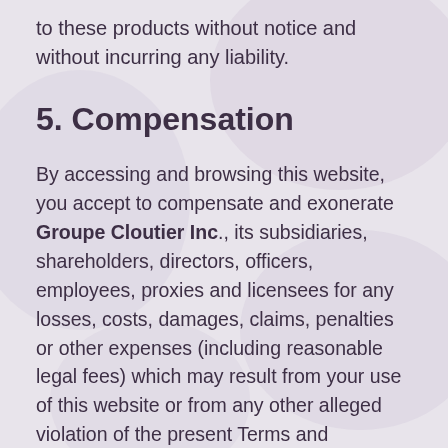to these products without notice and without incurring any liability.
5. Compensation
By accessing and browsing this website, you accept to compensate and exonerate Groupe Cloutier Inc., its subsidiaries, shareholders, directors, officers, employees, proxies and licensees for any losses, costs, damages, claims, penalties or other expenses (including reasonable legal fees) which may result from your use of this website or from any other alleged violation of the present Terms and Conditions.
6. Applicable Laws